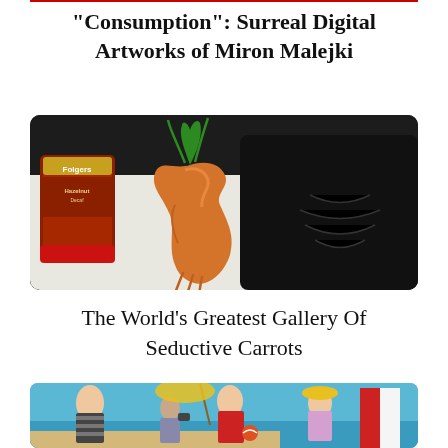"Consumption": Surreal Digital Artworks of Miron Malejki
[Figure (photo): A surreal photograph of a carrot shaped like a muscular human arm/hand leaning against a black appliance, with a Folgers coffee can visible in the background on a white surface.]
The World’s Greatest Gallery Of Seductive Carrots
[Figure (illustration): A colorful retro illustration of a beach scene with people in vintage swimwear; a man in a red sweater and a woman in a yellow hat are prominent in the foreground, with a striped red-and-white beach umbrella/chair on the right and blue ocean in background.]